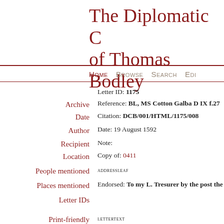The Diplomatic Correspondence of Thomas Bodley
Home  Browse  Search  Edit
Letter ID: 1175
Reference: BL, MS Cotton Galba D IX f.27
Citation: DCB/001/HTML/1175/008
Date: 19 August 1592
Note:
Copy of: 0411
ADDRESSLEAF
Endorsed: To my L. Tresurer by the post the
LETTERTEXT